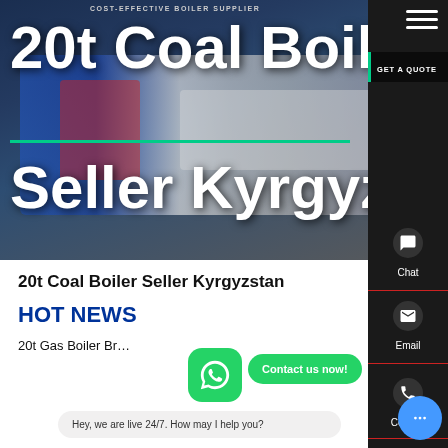[Figure (screenshot): Hero banner with dark blue industrial background showing coal/steam boilers. Website header with logo and 'COST-EFFECTIVE BOILER SUPPLIER' tagline. Large white bold title text '20t Coal Boiler Seller Kyrgyzstan' overlaid on boiler machinery image.]
20t Coal Boiler Seller Kyrgyzstan
HOT NEWS
20t Gas Boiler Br…
Contact us now!
Hey, we are live 24/7. How may I help you?